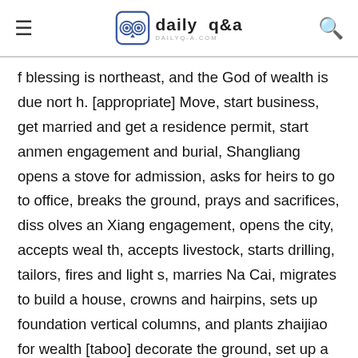daily q&a — DAILYQ-A.COM
f blessing is northeast, and the God of wealth is due north. [appropriate] Move, start business, get married and get a residence permit, start anmen engagement and burial, Shangliang opens a stove for admission, asks for heirs to go to office, breaks the ground, prays and sacrifices, dissolves an Xiang engagement, opens the city, accepts wealth, accepts livestock, starts drilling, tailors, fires and lights, marries Na Cai, migrates to build a house, crowns and hairpins, sets up foundation vertical columns, and plants zhaijiao for wealth [taboo] decorate the ground, set up a bed, travel, build a voucher, seek medical treatment, start a lawsuit and file a lawsuit